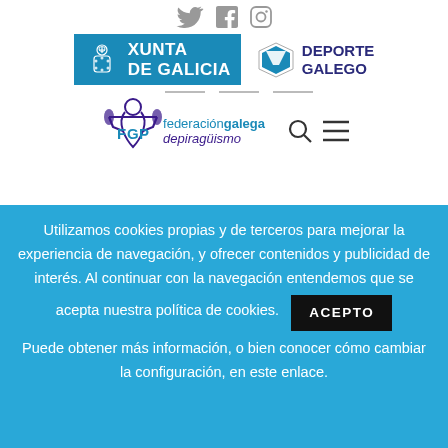[Figure (logo): Social media icons: Twitter, Facebook, Instagram]
[Figure (logo): Xunta de Galicia logo with blue background and coat of arms icon]
[Figure (logo): Deporte Galego logo with chevron shield icon]
[Figure (logo): Federación Galega de Piragüismo (FGP) logo with paddler icon, search and menu icons]
Utilizamos cookies propias y de terceros para mejorar la experiencia de navegación, y ofrecer contenidos y publicidad de interés. Al continuar con la navegación entendemos que se acepta nuestra política de cookies. ACEPTO
Puede obtener más información, o bien conocer cómo cambiar la configuración, en este enlace.